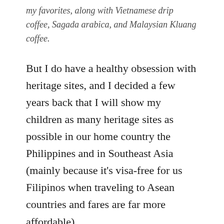my favorites, along with Vietnamese drip coffee, Sagada arabica, and Malaysian Kluang coffee.
But I do have a healthy obsession with heritage sites, and I decided a few years back that I will show my children as many heritage sites as possible in our home country the Philippines and in Southeast Asia (mainly because it’s visa-free for us Filipinos when traveling to Asean countries and fares are far more affordable).
The ancient town of Luang Prabang, a Unesco World Heritage Site, fascinates me in particular, and while it was growing in popularity (e.g. morning alms giving by monks), I and hoped that the place would still